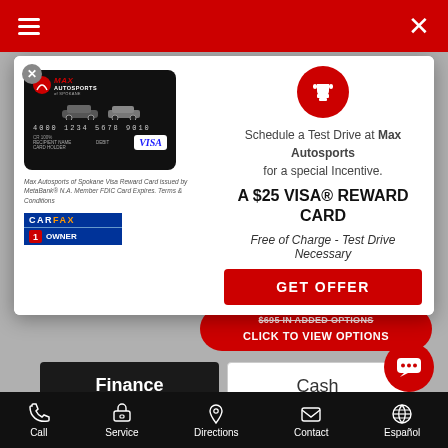Max Autosports navigation bar
[Figure (screenshot): Max Autosports Visa debit card image — black card with logo, vehicles, card number 4000 1234 5678 9010, VISA logo]
Max Autosports of Spokane Visa Reward Card issued by MetaBank® N.A. Member FDIC Card Expires. Terms & Conditions
[Figure (logo): CARFAX 1 OWNER badge]
Schedule a Test Drive at Max Autosports for a special Incentive.
A $25 VISA® REWARD CARD
Free of Charge - Test Drive Necessary
GET OFFER
$695 IN ADDED OPTIONS CLICK TO VIEW OPTIONS
Finance
Cash
$214.42
Per month for 84 months
Call  Service  Directions  Contact  Español